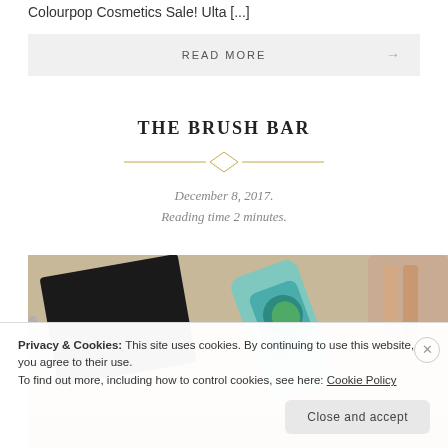Colourpop Cosmetics Sale! Ulta [...]
READ MORE →
THE BRUSH BAR
December 8, 2017.
Reading time 2 minutes.
[Figure (photo): Flat lay product photo showing cosmetics and beauty products including an EcoTools or similar green-labeled product, a dark book or palette, and metal accessories on a marble surface.]
Privacy & Cookies: This site uses cookies. By continuing to use this website, you agree to their use.
To find out more, including how to control cookies, see here: Cookie Policy
Close and accept